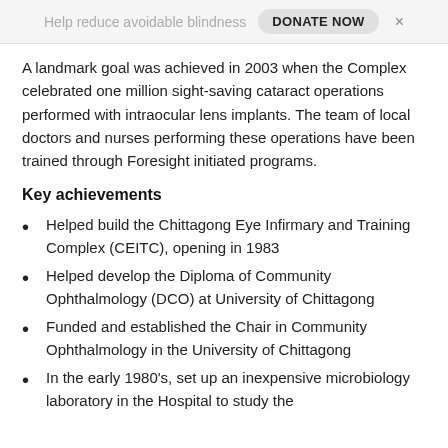Help reduce avoidable blindness  DONATE NOW  ×
A landmark goal was achieved in 2003 when the Complex celebrated one million sight-saving cataract operations performed with intraocular lens implants. The team of local doctors and nurses performing these operations have been trained through Foresight initiated programs.
Key achievements
Helped build the Chittagong Eye Infirmary and Training Complex (CEITC), opening in 1983
Helped develop the Diploma of Community Ophthalmology (DCO) at University of Chittagong
Funded and established the Chair in Community Ophthalmology in the University of Chittagong
In the early 1980’s, set up an inexpensive microbiology laboratory in the Hospital to study the